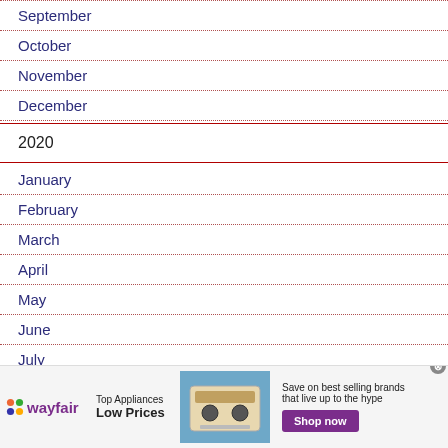September
October
November
December
2020
January
February
March
April
May
June
July
[Figure (infographic): Wayfair advertisement banner: Top Appliances Low Prices, Save on best selling brands that live up to the hype. Shop now button.]